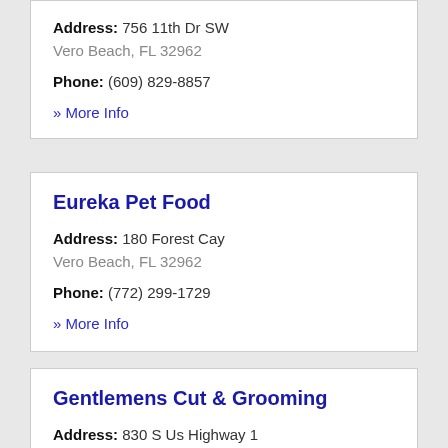Address: 756 11th Dr SW
Vero Beach, FL 32962
Phone: (609) 829-8857
» More Info
Eureka Pet Food
Address: 180 Forest Cay
Vero Beach, FL 32962
Phone: (772) 299-1729
» More Info
Gentlemens Cut & Grooming
Address: 830 S Us Highway 1
Vero Beach, FL 32962